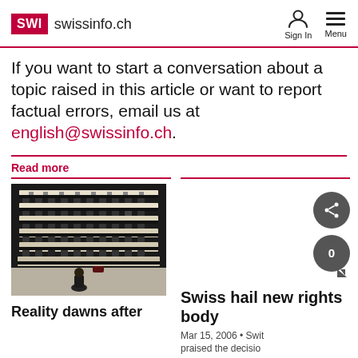SWI swissinfo.ch | Sign In | Menu
If you want to start a conversation about a topic raised in this article or want to report factual errors, email us at english@swissinfo.ch.
Read more
[Figure (photo): Aerial view of empty parliament chamber rows of desks with a lone figure seated at the bottom]
Reality dawns after
Swiss hail new rights body
Mar 15, 2006 • Swit praised the decisio